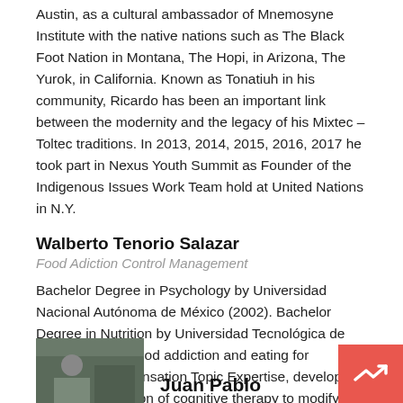Austin, as a cultural ambassador of Mnemosyne Institute with the native nations such as The Black Foot Nation in Montana, The Hopi, in Arizona, The Yurok, in California. Known as Tonatiuh in his community, Ricardo has been an important link between the modernity and the legacy of his Mixtec – Toltec traditions. In 2013, 2014, 2015, 2016, 2017 he took part in Nexus Youth Summit as Founder of the Indigenous Issues Work Team hold at United Nations in N.Y.
Walberto Tenorio Salazar
Food Adiction Control Management
Bachelor Degree in Psychology by Universidad Nacional Autónoma de México (2002). Bachelor Degree in Nutrition by Universidad Tecnológica de México (2017) Food addiction and eating for emotional compensation Topic Expertise, developing the implementation of cognitive therapy to modify the diet.
Organizing team
Juan Pablo